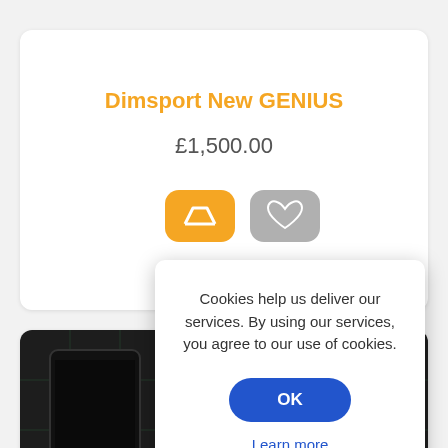Dimsport New GENIUS
£1,500.00
[Figure (screenshot): Product image showing a dark electronic device with circuit board design and 'New TRASDATA' logo text]
Cookies help us deliver our services. By using our services, you agree to our use of cookies.
OK
Learn more